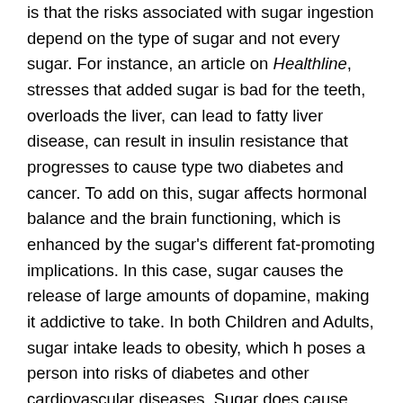is that the risks associated with sugar ingestion depend on the type of sugar and not every sugar. For instance, an article on Healthline, stresses that added sugar is bad for the teeth, overloads the liver, can lead to fatty liver disease, can result in insulin resistance that progresses to cause type two diabetes and cancer. To add on this, sugar affects hormonal balance and the brain functioning, which is enhanced by the sugar's different fat-promoting implications. In this case, sugar causes the release of large amounts of dopamine, making it addictive to take. In both Children and Adults, sugar intake leads to obesity, which h poses a person into risks of diabetes and other cardiovascular diseases. Sugar does cause this disorders by raising the levels of cholesterol. Nevertheless, we cannot do away with sugar as our bodies require energy for physiological processes. It, therefore, means we have a role to play to ensure our blood glucose remains between 70mg/dl and 110mg/dl. Below and above this can raise or lower blood pressure resulting in heart problems. Moreover, it is critical to understand that people's tolerance to glucose is different and thus people should be able to monitor their blood sugar levels by better choices of what they chose to eat.